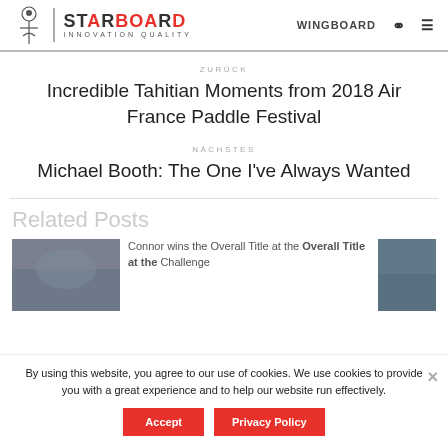STARBOARD INNOVATION QUALITY | WINGBOARD
ZURÜCK
Incredible Tahitian Moments from 2018 Air France Paddle Festival
NÄCHSTES
Michael Booth: The One I've Always Wanted
Related Posts
Connor wins the Overall Title at the ... Challenge
By using this website, you agree to our use of cookies. We use cookies to provide you with a great experience and to help our website run effectively.